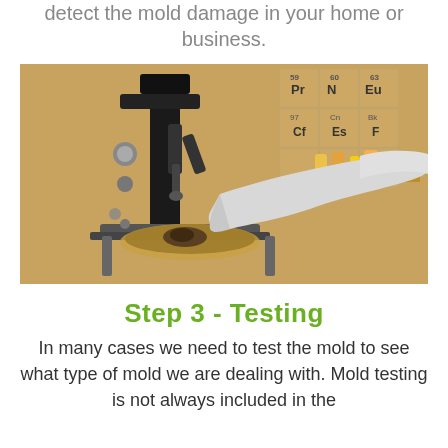detect the mold damage in your home or business.
[Figure (photo): A gloved hand placing a petri dish with a mold sample under a microscope in a laboratory setting, with a periodic table of elements visible in the background and various glass vials and bottles on shelves.]
Step 3 - Testing
In many cases we need to test the mold to see what type of mold we are dealing with. Mold testing is not always included in the